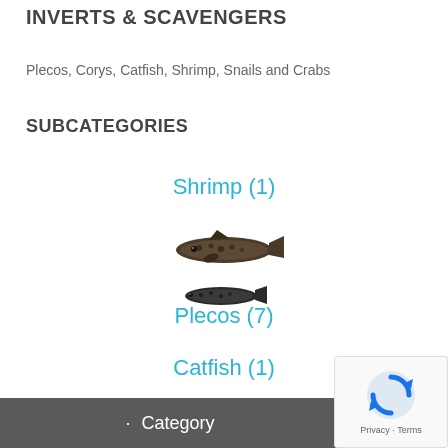INVERTS & SCAVENGERS
Plecos, Corys, Catfish, Shrimp, Snails and Crabs
SUBCATEGORIES
Shrimp (1)
[Figure (photo): Two pleco fish illustrations stacked vertically]
Plecos (7)
Catfish (1)
Save s
Category